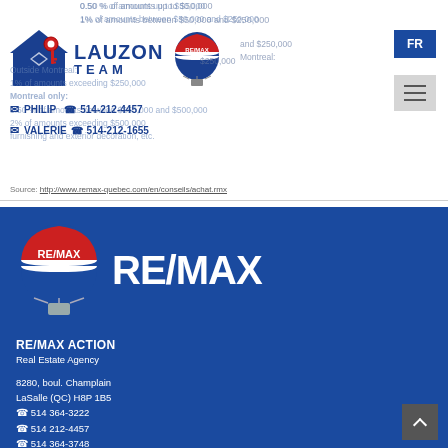[Figure (logo): Lauzon Team RE/MAX logo with house and key icon and RE/MAX balloon]
PHILIP  514-212-4457
VALERIE  514-212-1655
0.50 % of amounts up to $50,000
1% of amounts between $50,000 and $250,000
Outside Montreal:
1% of amounts exceeding $250,000
Montreal only:
1.50 % of amounts between $250,000 and $500,000
2% of amounts exceeding $500,000
furnishing and exterior decoration, etc.
Source: http://www.remax-quebec.com/en/conseils/achat.rmx
[Figure (logo): RE/MAX large logo with hot air balloon on blue background]
RE/MAX ACTION
Real Estate Agency
8280, boul. Champlain
LaSalle (QC) H8P 1B5
514 364-3222
514 212-4457
514 364-3748